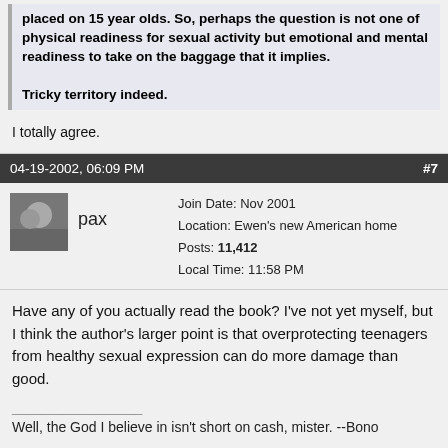placed on 15 year olds. So, perhaps the question is not one of physical readiness for sexual activity but emotional and mental readiness to take on the baggage that it implies.

Tricky territory indeed.
I totally agree.
04-19-2002, 06:09 PM  #7
pax  Join Date: Nov 2001  Location: Ewen's new American home  Posts: 11,412  Local Time: 11:58 PM
Have any of you actually read the book? I've not yet myself, but I think the author's larger point is that overprotecting teenagers from healthy sexual expression can do more damage than good.
Well, the God I believe in isn't short on cash, mister. --Bono
But a day will come
In this dawning age